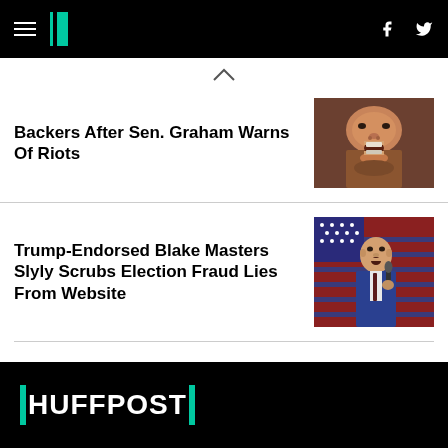HuffPost navigation bar with hamburger menu, logo, Facebook and Twitter icons
Backers After Sen. Graham Warns Of Riots
[Figure (photo): Close-up photo of a man yelling or speaking intensely, mouth wide open]
Trump-Endorsed Blake Masters Slyly Scrubs Election Fraud Lies From Website
[Figure (photo): Photo of a man in a blue suit speaking into a microphone in front of an American flag]
HUFFPOST